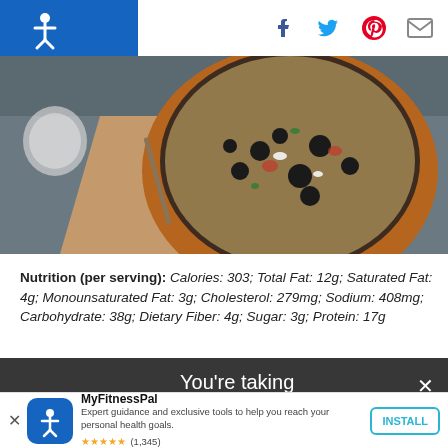MyFitnessPal header with logo and social icons (Facebook, Twitter, Pinterest, Email)
[Figure (photo): Overhead photo of a bowl of food with black beans, corn, rice and vegetables on a wooden table with a fork and napkin]
Nutrition (per serving): Calories: 303; Total Fat: 12g; Saturated Fat: 4g; Monounsaturated Fat: 3g; Cholesterol: 279mg; Sodium: 408mg; Carbohydrate: 38g; Dietary Fiber: 4g; Sugar: 3g; Protein: 17g
You're taking control of your
MyFitnessPal
Expert guidance and exclusive tools to help you reach your personal health goals.
★★★★★ (1,345)